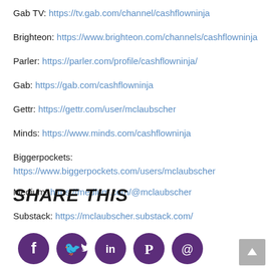Gab TV: https://tv.gab.com/channel/cashflowninja
Brighteon: https://www.brighteon.com/channels/cashflowninja
Parler: https://parler.com/profile/cashflowninja/
Gab: https://gab.com/cashflowninja
Gettr: https://gettr.com/user/mclaubscher
Minds: https://www.minds.com/cashflowninja
Biggerpockets: https://www.biggerpockets.com/users/mclaubscher
Medium: https://medium.com/@mclaubscher
Substack: https://mclaubscher.substack.com/
SHARE THIS
[Figure (infographic): Row of social media share icons: Facebook, Twitter, LinkedIn, Pinterest, and email/other icon, all in dark purple color.]